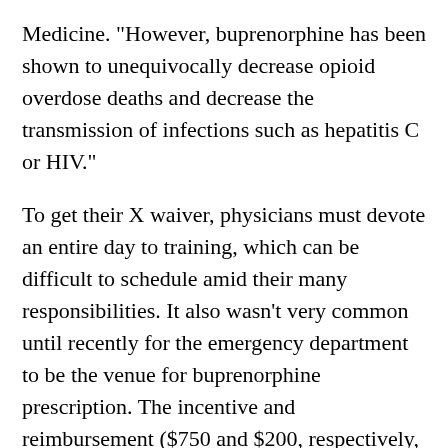Medicine. "However, buprenorphine has been shown to unequivocally decrease opioid overdose deaths and decrease the transmission of infections such as hepatitis C or HIV."
To get their X waiver, physicians must devote an entire day to training, which can be difficult to schedule amid their many responsibilities. It also wasn't very common until recently for the emergency department to be the venue for buprenorphine prescription. The incentive and reimbursement ($750 and $200, respectively, in this case) as well as changing attitudes toward the medication seem to make the decision to get an X waiver much easier for the 67 physicians it was offered to.
Of the three emergency department locations, two actually achieved a 100 percent X waiver rate. This included one site that went from zero X waivers to all of its ED doctors having one., and another site that went from just three of its